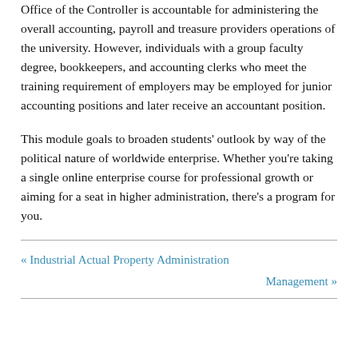Office of the Controller is accountable for administering the overall accounting, payroll and treasure providers operations of the university. However, individuals with a group faculty degree, bookkeepers, and accounting clerks who meet the training requirement of employers may be employed for junior accounting positions and later receive an accountant position.
This module goals to broaden students' outlook by way of the political nature of worldwide enterprise. Whether you're taking a single online enterprise course for professional growth or aiming for a seat in higher administration, there's a program for you.
« Industrial Actual Property Administration
Management »